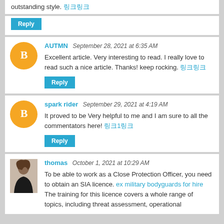outstanding style. [link]
Reply
AUTMN  September 28, 2021 at 6:35 AM
Excellent article. Very interesting to read. I really love to read such a nice article. Thanks! keep rocking. [link]
Reply
spark rider  September 29, 2021 at 4:19 AM
It proved to be Very helpful to me and I am sure to all the commentators here! [link]
Reply
thomas  October 1, 2021 at 10:29 AM
To be able to work as a Close Protection Officer, you need to obtain an SIA licence. ex military bodyguards for hire The training for this licence covers a whole range of topics, including threat assessment, operational